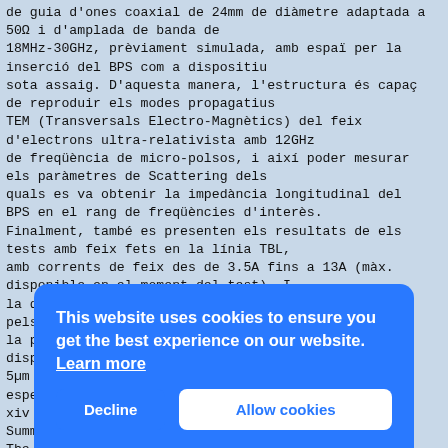de guia d'ones coaxial de 24mm de diàmetre adaptada a 50Ω i d'amplada de banda de 18MHz-30GHz, prèviament simulada, amb espaï per la inserció del BPS com a dispositiu sota assaig. D'aquesta manera, l'estructura és capaç de reproduir els modes propagatius TEM (Transversals Electro-Magnètics) del feix d'electrons ultra-relativista amb 12GHz de freqüència de micro-polsos, i així poder mesurar els paràmetres de Scattering dels quals es va obtenir la impedància longitudinal del BPS en el rang de freqüències d'interès. Finalment, també es presenten els resultats de els tests amb feix fets en la línia TBL, amb corrents de feix des de 3.5A fins a 13A (màx. disponible en el moment del test). I la determinació de la mínima resolució aconseguida pels monitors BPS en la mesura de la posició del feix, sent la figura de mèrit del dispositiu, amb un objectiu de resolució de 5µm a màxim corrent de feix de 28A segons les espe... xiv Summ... The Inst... Beam... a se... elec... (IPU... of 1... built and installed into the Test Beam Line (TBL), an electron
This website uses cookies to ensure you get the best experience on our website. Learn more
Decline   Allow cookies